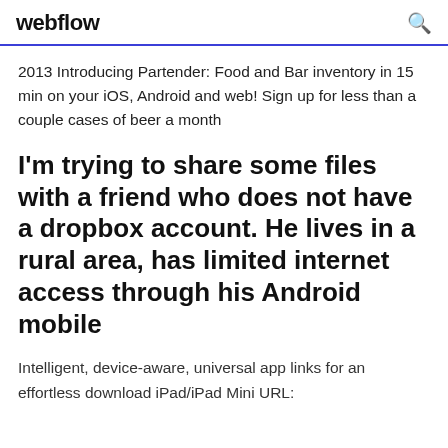webflow
2013 Introducing Partender: Food and Bar inventory in 15 min on your iOS, Android and web! Sign up for less than a couple cases of beer a month
I'm trying to share some files with a friend who does not have a dropbox account. He lives in a rural area, has limited internet access through his Android mobile
Intelligent, device-aware, universal app links for an effortless download iPad/iPad Mini URL: